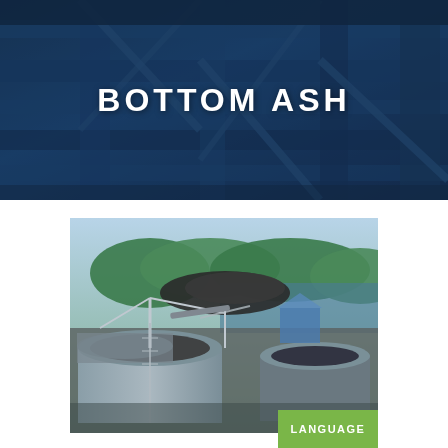[Figure (photo): Industrial steel structure with blue steel beams and scaffolding photographed from below at an angle, with dark blue color overlay]
BOTTOM ASH
[Figure (photo): Aerial view of industrial bottom ash handling facility with large circular tanks/silos, conveyor systems, and a coal pile in the background near a waterway]
LANGUAGE